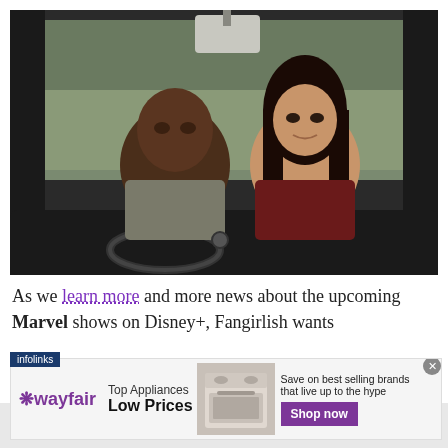[Figure (photo): Two men sitting inside a vintage car. The man on the left is Black, wearing a gray polo shirt, seated in the driver's seat. The man on the right has long dark hair, wearing a dark red shirt, seated in the passenger seat. A rearview mirror is visible at the top center.]
As we learn more and more news about the upcoming Marvel shows on Disney+, Fangirlish wants
[Figure (infographic): Wayfair advertisement banner. Shows Wayfair logo on the left, 'Top Appliances Low Prices' text in the center-left, an image of a kitchen range/stove in the center, and on the right: 'Save on best selling brands that live up to the hype' with a purple 'Shop now' button. An infolinks label appears at the bottom left of the ad area. A gray X close button appears at the top right.]